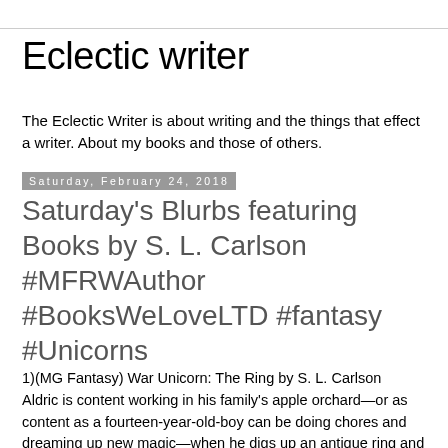Eclectic writer
The Eclectic Writer is about writing and the things that effect a writer. About my books and those of others.
Saturday, February 24, 2018
Saturday's Blurbs featuring Books by S. L. Carlson #MFRWAuthor #BooksWeLoveLTD #fantasy #Unicorns
1)(MG Fantasy) War Unicorn: The Ring by S. L. Carlson
Aldric is content working in his family's apple orchard—or as content as a fourteen-year-old-boy can be doing chores and dreaming up new magic—when he digs up an antique ring and releases a rude spell-bound unicorn. She claims she belongs to the king, but after her long imprisonment, she can't tell Aldric which king that might be. Aldric